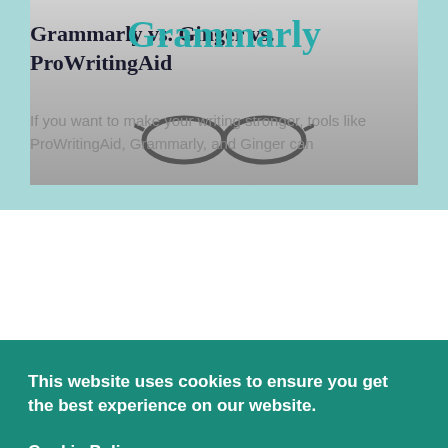[Figure (screenshot): Top banner with 'Grammarly' title in teal on a light background with glasses image below]
Grammarly vs. Ginger vs. ProWritingAid
If you want to make your writing stronger, tools like ProWritingAid, Grammarly, and Ginger can
This website uses cookies to ensure you get the best experience on our website.
Cookie Policy
Got it!